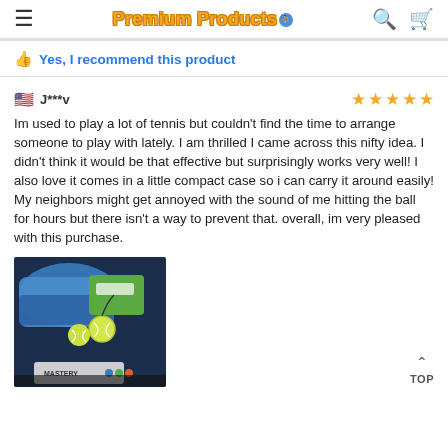Premium Products
👍 Yes, I recommend this product
🇺🇸 J***v ★★★★★
Im used to play a lot of tennis but couldn't find the time to arrange someone to play with lately. I am thrilled I came across this nifty idea. I didn't think it would be that effective but surprisingly works very well! I also love it comes in a little compact case so i can carry it around easily! My neighbors might get annoyed with the sound of me hitting the ball for hours but there isn't a way to prevent that. overall, im very pleased with this purchase.
[Figure (photo): Photo of a tennis training product in a compact blue case with yellow tennis balls and green accessories labeled Mastery]